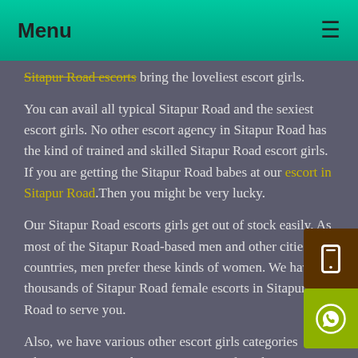Menu
Sitapur Road escorts bring the loveliest escort girls.
You can avail all typical Sitapur Road and the sexiest escort girls. No other escort agency in Sitapur Road has the kind of trained and skilled Sitapur Road escort girls. If you are getting the Sitapur Road babes at our escort in Sitapur Road. Then you might be very lucky.
Our Sitapur Road escorts girls get out of stock easily. As most of the Sitapur Road-based men and other cities and countries, men prefer these kinds of women. We have thousands of Sitapur Road female escorts in Sitapur Road to serve you.
Also, we have various other escort girls categories whom you can avail. But our most preferred category is only Sitapur Road independent escort in Sitapur